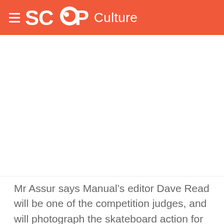SCOOP Culture
[Figure (other): White advertisement/image placeholder area]
Mr Assur says Manual's editor Dave Read will be one of the competition judges, and will photograph the skateboard action for the magazine.
Dave Read has praised the Festival, the Porirua Council and DVS for their support and encouragement for the skateboarding community, and says the prize money